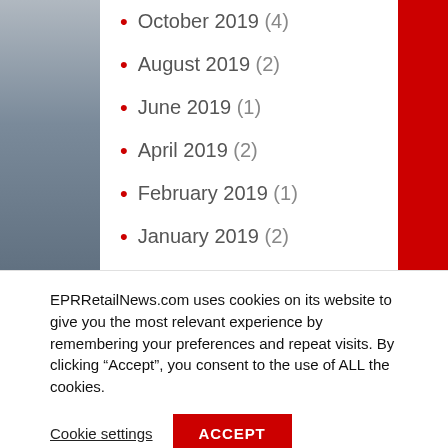October 2019 (4)
August 2019 (2)
June 2019 (1)
April 2019 (2)
February 2019 (1)
January 2019 (2)
December 2018 (1)
October 2018 (5)
EPRRetailNews.com uses cookies on its website to give you the most relevant experience by remembering your preferences and repeat visits. By clicking “Accept”, you consent to the use of ALL the cookies.
Cookie settings  ACCEPT